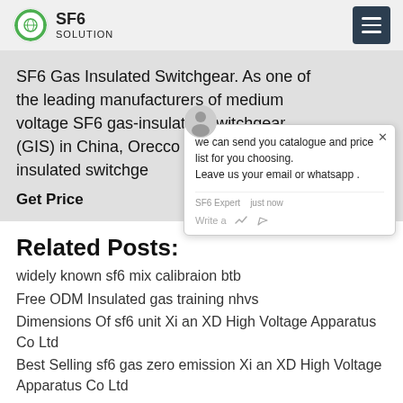SF6 SOLUTION
SF6 Gas Insulated Switchgear. As one of the leading manufacturers of medium voltage SF6 gas-insulated switchgear (GIS) in China, Orecco designed the gas-insulated switchge...
Get Price
we can send you catalogue and price list for you choosing. Leave us your email or whatsapp .
Related Posts:
widely known sf6 mix calibraion btb
Free ODM Insulated gas training nhvs
Dimensions Of sf6 unit Xi an XD High Voltage Apparatus Co Ltd
Best Selling sf6 gas zero emission Xi an XD High Voltage Apparatus Co Ltd